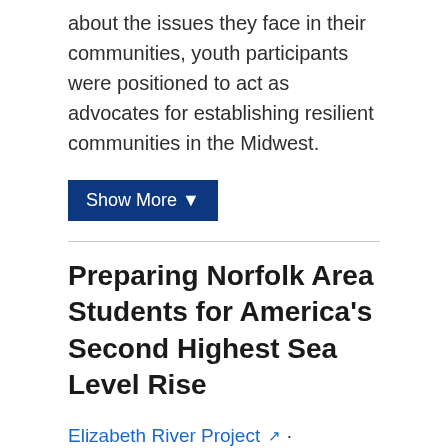about the issues they face in their communities, youth participants were positioned to act as advocates for establishing resilient communities in the Midwest.
Show More ▼
Preparing Norfolk Area Students for America's Second Highest Sea Level Rise
Elizabeth River Project · Portsmouth, Virginia
Funding: $497,774